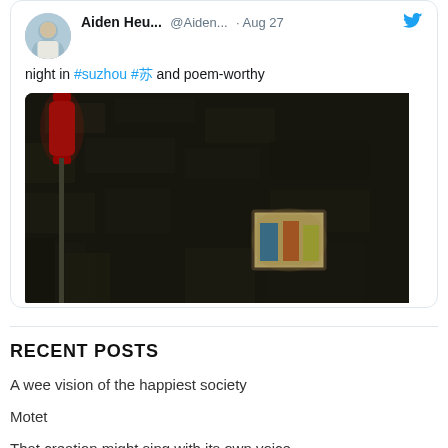[Figure (screenshot): Tweet by Aiden Heu... @Aiden... Aug 27 with text 'night in #suzhou #苏 and poem-worthy' and an attached photo of a dark stone wall with a red lantern and a small illuminated window]
RECENT POSTS
A wee vision of the happiest society
Motet
That creation might sing with its own voice …
'A, a, a, Domine Deus'